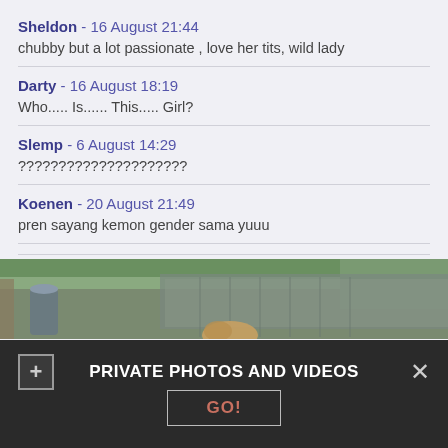Sheldon - 16 August 21:44
chubby but a lot passionate , love her tits, wild lady
Darty - 16 August 18:19
Who..... Is...... This..... Girl?
Slemp - 6 August 14:29
?????????????????????
Koenen - 20 August 21:49
pren sayang kemon gender sama yuuu
[Figure (photo): Partial outdoor photo showing trees and a wooden structure in background, person with hair visible at bottom]
PRIVATE PHOTOS AND VIDEOS
GO!